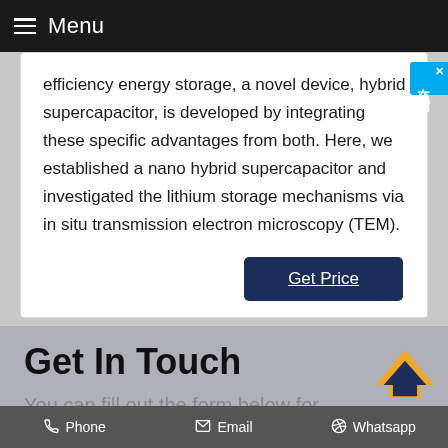Menu
efficiency energy storage, a novel device, hybrid supercapacitor, is developed by integrating these specific advantages from both. Here, we established a nano hybrid supercapacitor and investigated the lithium storage mechanisms via in situ transmission electron microscopy (TEM).
Get Price
Get In Touch
You can fill out the form below for
Phone   Email   Whatsapp